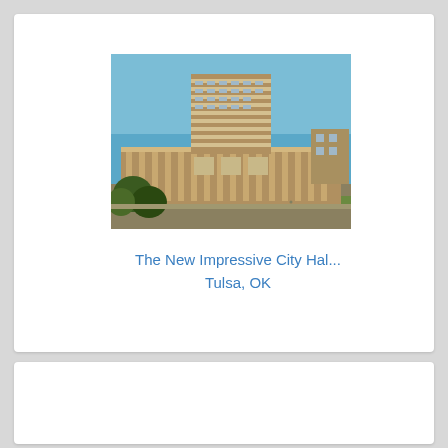[Figure (photo): Vintage color photograph of the new Tulsa City Hall building. Shows a mid-century modern complex with a tall multi-story tower block in the background and a wide low-rise horizontal wing in the foreground. Blue sky above, trees and landscaping visible in the lower left.]
The New Impressive City Hal...
Tulsa, OK